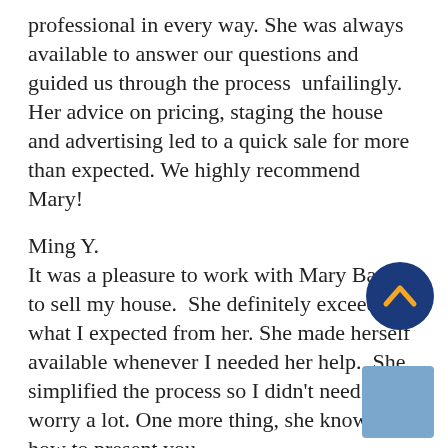professional in every way. She was always available to answer our questions and guided us through the process  unfailingly. Her advice on pricing, staging the house and advertising led to a quick sale for more than expected. We highly recommend Mary!
Ming Y.
It was a pleasure to work with Mary Bauer to sell my house.  She definitely exceeded what I expected from her. She made herself available whenever I needed her help.  She simplified the process so I didn't need to worry a lot. One more thing, she knows how to present your house as she is a  designer! I would highly recommend Mary as your realtor.
Beth M.
I cannot say enough great things about Mary Bauer. We are raising a home for our children.